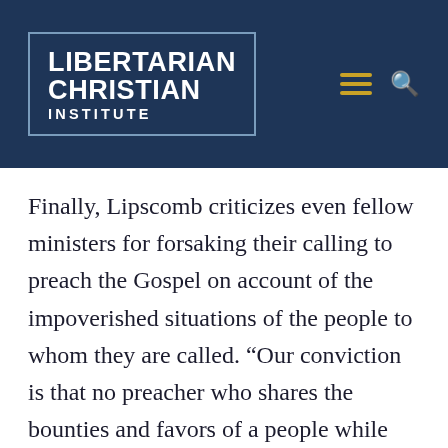[Figure (logo): Libertarian Christian Institute logo with white bold text on dark navy background, inside a blue-bordered rectangle, with hamburger menu and search icons to the right]
Finally, Lipscomb criticizes even fellow ministers for forsaking their calling to preach the Gospel on account of the impoverished situations of the people to whom they are called. “Our conviction is that no preacher who shares the bounties and favors of a people while prosperous, and then forsakes them when misfortune comes,